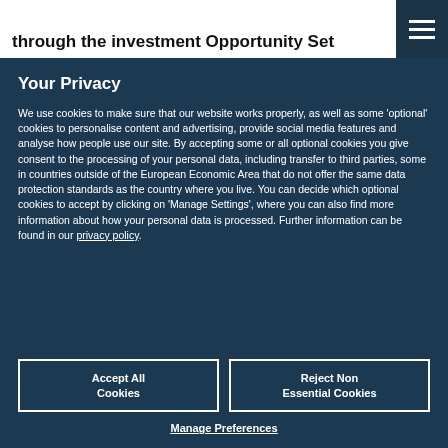indirect effect of Free Cash Flow on firm... through the investment Opportunity Set
Your Privacy
We use cookies to make sure that our website works properly, as well as some 'optional' cookies to personalise content and advertising, provide social media features and analyse how people use our site. By accepting some or all optional cookies you give consent to the processing of your personal data, including transfer to third parties, some in countries outside of the European Economic Area that do not offer the same data protection standards as the country where you live. You can decide which optional cookies to accept by clicking on 'Manage Settings', where you can also find more information about how your personal data is processed. Further information can be found in our privacy policy.
Accept All Cookies
Reject Non Essential Cookies
Manage Preferences